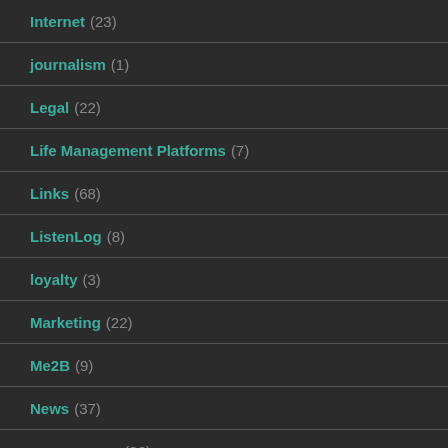Internet (23)
journalism (1)
Legal (22)
Life Management Platforms (7)
Links (68)
ListenLog (8)
loyalty (3)
Marketing (22)
Me2B (9)
News (37)
open source (36)